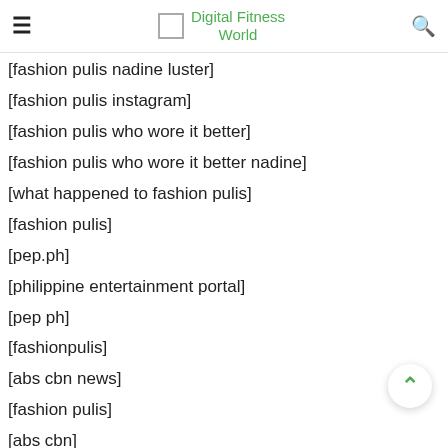Digital Fitness World
[fashion pulis nadine luster]
[fashion pulis instagram]
[fashion pulis who wore it better]
[fashion pulis who wore it better nadine]
[what happened to fashion pulis]
[fashion pulis]
[pep.ph]
[philippine entertainment portal]
[pep ph]
[fashionpulis]
[abs cbn news]
[fashion pulis]
[abs cbn]
[social media]
[sa]
[fashion pulis]